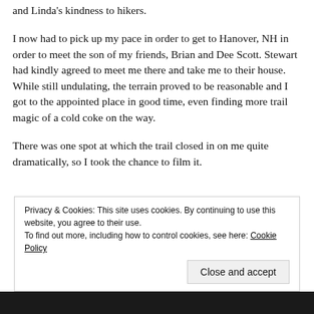and Linda's kindness to hikers.
I now had to pick up my pace in order to get to Hanover, NH in order to meet the son of my friends, Brian and Dee Scott. Stewart had kindly agreed to meet me there and take me to their house. While still undulating, the terrain proved to be reasonable and I got to the appointed place in good time, even finding more trail magic of a cold coke on the way.
There was one spot at which the trail closed in on me quite dramatically, so I took the chance to film it.
Privacy & Cookies: This site uses cookies. By continuing to use this website, you agree to their use.
To find out more, including how to control cookies, see here: Cookie Policy